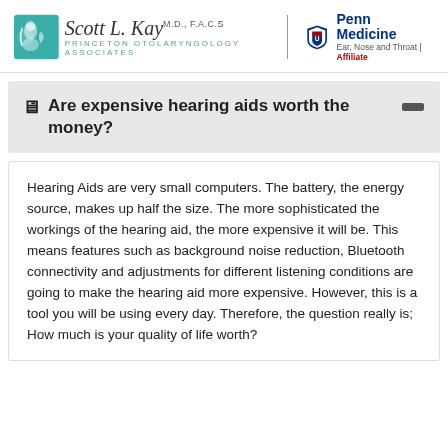Scott L. Kay M.D., F.A.C.S | Princeton Otolaryngology Associates | Penn Medicine Ear, Nose and Throat | Affiliate
Are expensive hearing aids worth the money?
Hearing Aids are very small computers. The battery, the energy source, makes up half the size. The more sophisticated the workings of the hearing aid, the more expensive it will be. This means features such as background noise reduction, Bluetooth connectivity and adjustments for different listening conditions are going to make the hearing aid more expensive. However, this is a tool you will be using every day. Therefore, the question really is; How much is your quality of life worth?